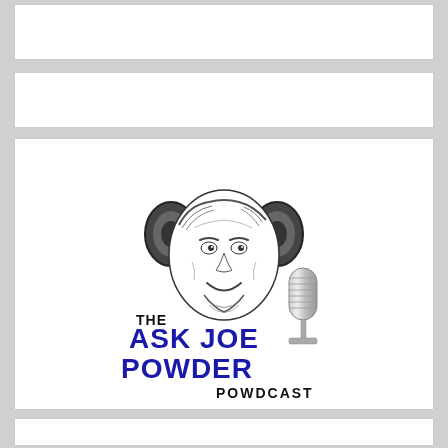[Figure (logo): The Ask Joe Powder Powdcast logo: cartoon caricature of a smiling man wearing large over-ear headphones, next to a vintage microphone, with text 'THE ASK JOE POWDER POWDCAST' in blue and black lettering.]